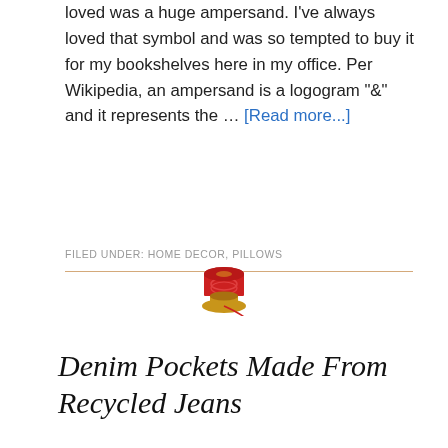loved was a huge ampersand. I've always loved that symbol and was so tempted to buy it for my bookshelves here in my office. Per Wikipedia, an ampersand is a logogram "&" and it represents the … [Read more...]
FILED UNDER: HOME DECOR, PILLOWS
[Figure (illustration): Red thread spool with gold base and red thread, decorative divider element]
Denim Pockets Made From Recycled Jeans
BY SUSAN
[Figure (photo): Colorful ruffled denim pockets made from recycled jeans, shown on light teal/mint background with pastel fabric patches]
Don't have enough jean pockets for a denim project